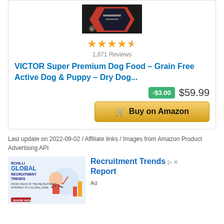[Figure (photo): Product image of VICTOR dog food bag, dark colored packaging with red accents]
★★★★½ 1,871 Reviews
VICTOR Super Premium Dog Food – Grain Free Active Dog & Puppy – Dry Dog...
-$3.00  $59.99
Buy on Amazon
Last update on 2022-09-02 / Affiliate links / Images from Amazon Product Advertising API
[Figure (illustration): RChilli Global Recruitment Trends advertisement banner with person and analytics graphics]
Recruitment Trends Report
Ad